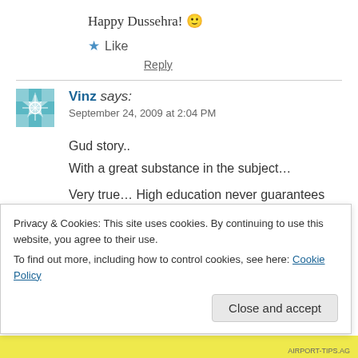Happy Dussehra! 🙂
★ Like
Reply
Vinz says:
September 24, 2009 at 2:04 PM
Gud story..
With a great substance in the subject…
Very true… High education never guarantees you g
Privacy & Cookies: This site uses cookies. By continuing to use this website, you agree to their use.
To find out more, including how to control cookies, see here: Cookie Policy
Close and accept